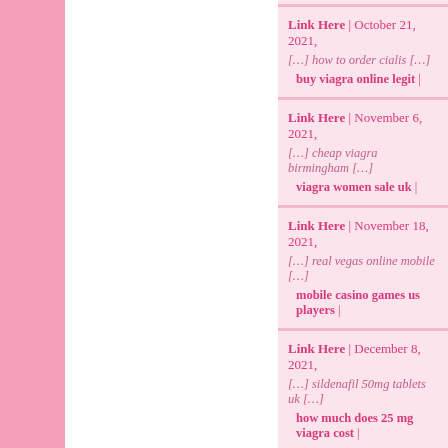Link Here | October 21, 2021, [...] how to order cialis [...] buy viagra online legit |
Link Here | November 6, 2021, [...] cheap viagra birmingham [...] viagra women sale uk |
Link Here | November 18, 2021, [...] real vegas online mobile [...] mobile casino games us players |
Link Here | December 8, 2021, [...] sildenafil 50mg tablets uk [...] how much does 25 mg viagra cost |